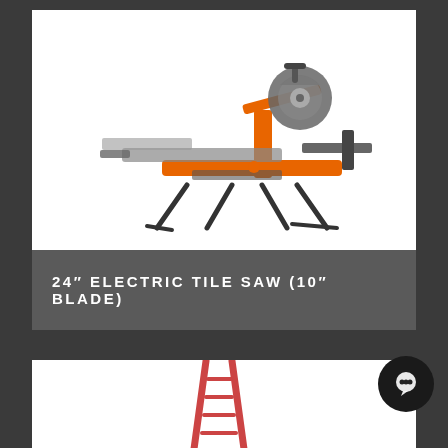[Figure (photo): Orange and black electric tile saw with metal stand/legs on white background]
24" ELECTRIC TILE SAW (10" BLADE)
[Figure (photo): Red and orange extension ladder, partially visible at bottom of page]